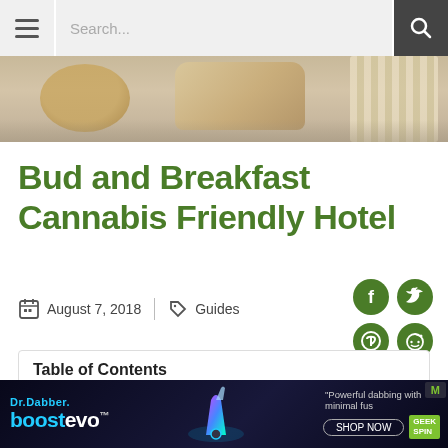Search...
[Figure (photo): Close-up of wooden board, bread/food items and woven textile on a grey surface]
Bud and Breakfast Cannabis Friendly Hotel
August 7, 2018 | Guides
[Figure (infographic): Social sharing icons: Facebook, Twitter, Pinterest, Reddit in green circles]
Table of Contents
Bud and Breakfast Cannabis Friendly Hotel
[Figure (other): Dr.Dabber boost evo advertisement banner with product image and Geek Spin logo]